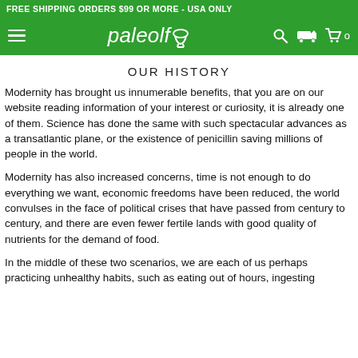FREE SHIPPING ORDERS $99 OR MORE - USA ONLY
[Figure (logo): PaleoIf logo with mortar and pestle icon on green navigation bar with hamburger menu, search icon, shipping icon, and cart icon]
OUR HISTORY
Modernity has brought us innumerable benefits, that you are on our website reading information of your interest or curiosity, it is already one of them. Science has done the same with such spectacular advances as a transatlantic plane, or the existence of penicillin saving millions of people in the world.
Modernity has also increased concerns, time is not enough to do everything we want, economic freedoms have been reduced, the world convulses in the face of political crises that have passed from century to century, and there are even fewer fertile lands with good quality of nutrients for the demand of food.
In the middle of these two scenarios, we are each of us perhaps practicing unhealthy habits, such as eating out of hours, ingesting